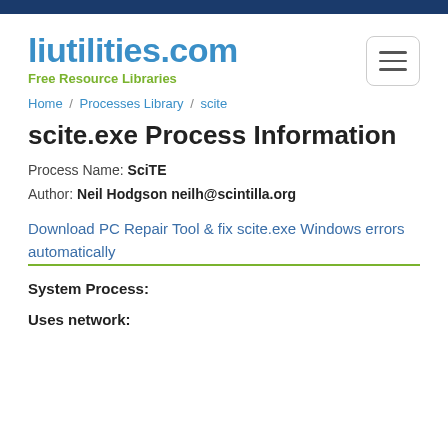liutilities.com
Free Resource Libraries
Home / Processes Library / scite
scite.exe Process Information
Process Name: SciTE
Author: Neil Hodgson neilh@scintilla.org
Download PC Repair Tool & fix scite.exe Windows errors automatically
System Process:
Uses network: